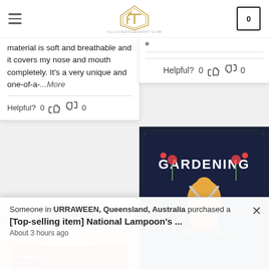Navigation header with hamburger menu, logo, and cart icon showing 0
material is soft and breathable and it covers my nose and mouth completely. It's a very unique and one-of-a-...More
Helpful? 0 [thumbs up] [thumbs down] 0
Helpful? 0 [thumbs up] [thumbs down] 0
[Figure (photo): Gardening themed flag/banner with text GARDENING showing illustrated figure with gardening tools on dark navy background]
[Figure (photo): Office/Christmas product photo showing person and Christmas sweater with Griswold Family Christmas text]
Someone in URRAWEEN, Queensland, Australia purchased a
[Top-selling item] National Lampoon's ...
About 3 hours ago